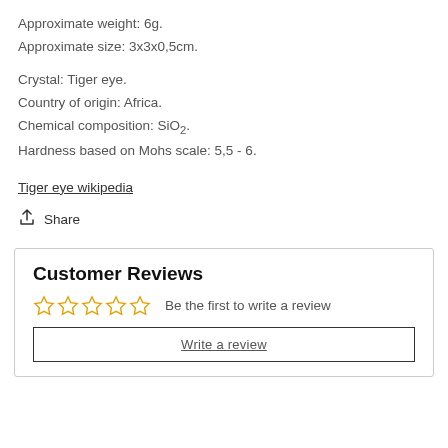Approximate weight: 6g.
Approximate size: 3x3x0,5cm.
Crystal: Tiger eye.
Country of origin: Africa.
Chemical composition: SiO2.
Hardness based on Mohs scale: 5,5 - 6.
Tiger eye wikipedia
Share
Customer Reviews
Be the first to write a review
Write a review